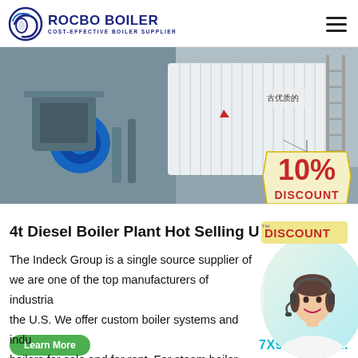[Figure (logo): Rocbo Boiler logo with circular arc icon and text 'ROCBO BOILER / COST-EFFECTIVE BOILER SUPPLIER']
[Figure (photo): Industrial boiler plant equipment photo showing large blue motor/blower on left and white corrugated boiler unit on right with Chinese text and scaffolding ladder. A '10% DISCOUNT' badge overlaps the bottom-right.]
4t Diesel Boiler Plant Hot Selling U...
The Indeck Group is a single source supplier of... we are one of the top manufacturers of industrial... the U.S. We offer custom boiler systems and indu... boilers for sale and for rent. For steam boiler rental call us at 847...
[Figure (photo): Customer service agent woman with headset smiling, circular cropped portrait with light green/blue gradient background]
7X94 Online...